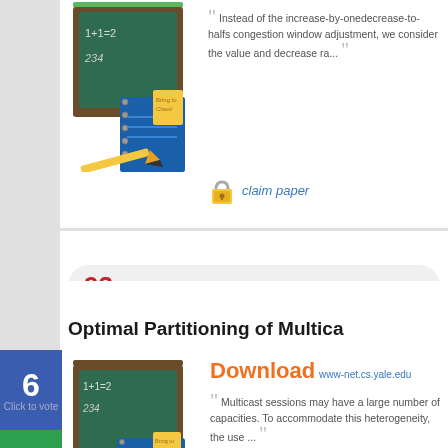[Figure (illustration): Book illustration with chalkboard showing math equations]
Instead of the increase-by-onedecrease-to-halfs congestion window adjustment, we consider the value and decrease ra...
claim paper
93 views  Computer Networks »
Optimal Partitioning of Multica
[Figure (illustration): Book illustration with chalkboard showing 1+1=2 and other equations]
Download www-net.cs.yale.edu
Multicast sessions may have a large number of capacities. To accommodate this heterogeneity, the use ...
6 Click to vote
ICNP 2000 IEEE